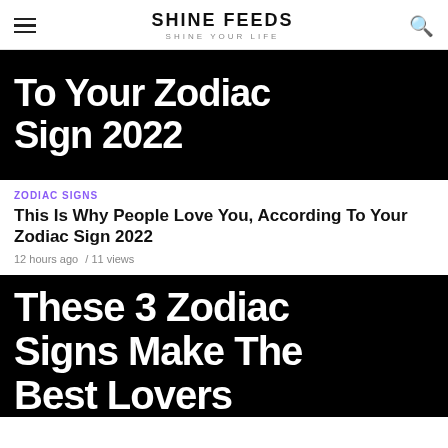SHINE FEEDS — SHINE YOUR LIFE
[Figure (photo): Black background image with white bold text reading 'To Your Zodiac Sign 2022' (partially visible, cropped top)]
ZODIAC SIGNS
This Is Why People Love You, According To Your Zodiac Sign 2022
12 hours ago / 11 views
[Figure (photo): Black background image with white bold text reading 'These 3 Zodiac Signs Make The Best Lovers']